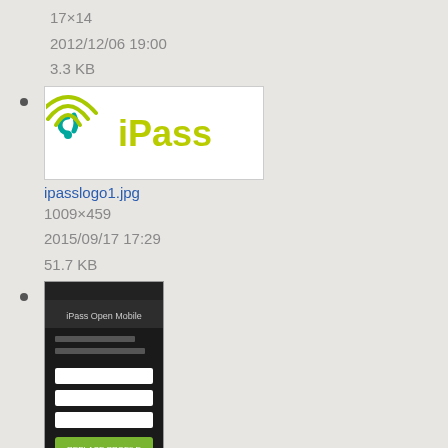17×14
2012/12/06 19:00
3.3 KB
ipasslogo1.jpg
1009×459
2015/09/17 17:29
51.7 KB
iphone_replaceprof.png
640×1136
2013/11/13 18:34
50.8 KB
[Figure (screenshot): Partial screenshot at bottom of page showing another file thumbnail]